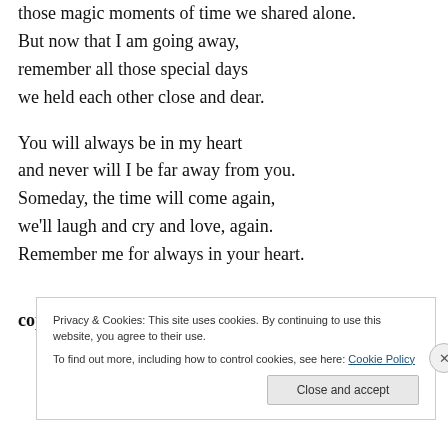those magic moments of time we shared alone.
But now that I am going away,
remember all those special days
we held each other close and dear.

You will always be in my heart
and never will I be far away from you.
Someday, the time will come again,
we'll laugh and cry and love, again.
Remember me for always in your heart.
copyright © 2012 T.J. Gargano
Privacy & Cookies: This site uses cookies. By continuing to use this website, you agree to their use.
To find out more, including how to control cookies, see here: Cookie Policy